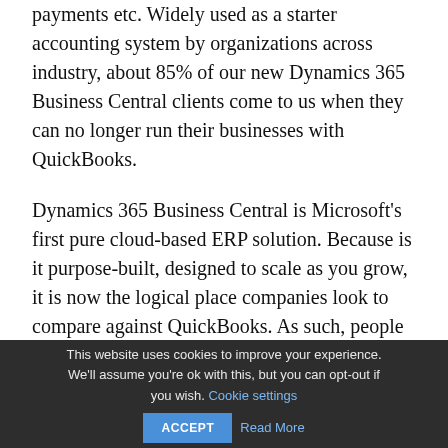payments etc. Widely used as a starter accounting system by organizations across industry, about 85% of our new Dynamics 365 Business Central clients come to us when they can no longer run their businesses with QuickBooks.
Dynamics 365 Business Central is Microsoft's first pure cloud-based ERP solution.  Because is it purpose-built, designed to scale as you grow, it is now the logical place companies look to compare against QuickBooks. As such, people are always asking us, “How does Business Central compare to
This website uses cookies to improve your experience. We'll assume you're ok with this, but you can opt-out if you wish. Cookie settings ACCEPT Read More